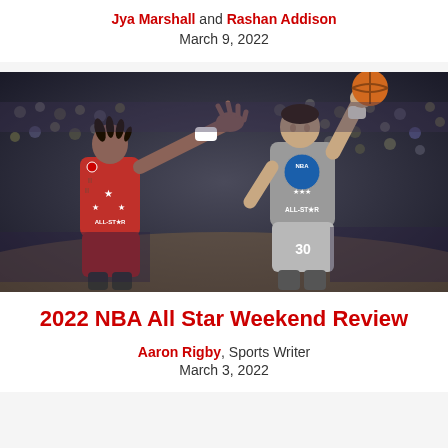Jya Marshall and Rashan Addison
March 9, 2022
[Figure (photo): Two NBA All-Star players on court — one in red uniform reaching out, another in grey All-Star uniform shooting the basketball, with crowd in background]
2022 NBA All Star Weekend Review
Aaron Rigby, Sports Writer
March 3, 2022